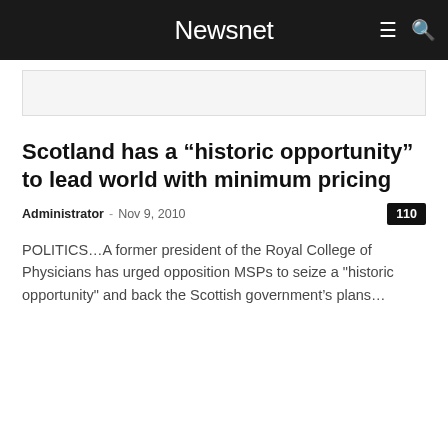Newsnet
[Figure (illustration): Advertisement placeholder banner]
Scotland has a “historic opportunity” to lead world with minimum pricing
Administrator - Nov 9, 2010  110
POLITICS…A former president of the Royal College of Physicians has urged opposition MSPs to seize a "historic opportunity" and back the Scottish government’s plans…